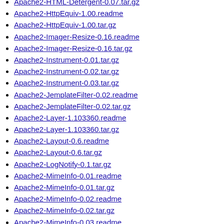Apache2-HTML-Detergent-0.07.tar.gz
Apache2-HttpEquiv-1.00.readme
Apache2-HttpEquiv-1.00.tar.gz
Apache2-Imager-Resize-0.16.readme
Apache2-Imager-Resize-0.16.tar.gz
Apache2-Instrument-0.01.tar.gz
Apache2-Instrument-0.02.tar.gz
Apache2-Instrument-0.03.tar.gz
Apache2-JemplateFilter-0.02.readme
Apache2-JemplateFilter-0.02.tar.gz
Apache2-Layer-1.103360.readme
Apache2-Layer-1.103360.tar.gz
Apache2-Layout-0.6.readme
Apache2-Layout-0.6.tar.gz
Apache2-LogNotify-0.1.tar.gz
Apache2-MimeInfo-0.01.readme
Apache2-MimeInfo-0.01.tar.gz
Apache2-MimeInfo-0.02.readme
Apache2-MimeInfo-0.02.tar.gz
Apache2-MimeInfo-0.03.readme
Apache2-MimeInfo-0.03.tar.gz
Apache2-MimeInfo-0.04.readme
Apache2-MimeInfo-0.04.tar.gz
Apache2-MimeInfo-0.05.readme
Apache2-MimeInfo-0.05.tar.gz